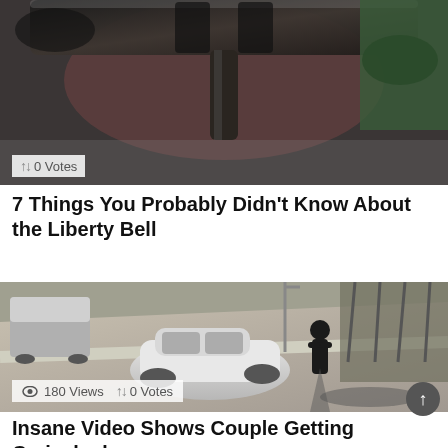[Figure (photo): Close-up of the Liberty Bell underside, showing metal and yoke, being held by hands]
↑↓ 0 Votes
7 Things You Probably Didn't Know About the Liberty Bell
[Figure (photo): Black and white security camera footage of a street scene with a white car, a standing person casting a long shadow, trees in background]
👁 180 Views ↑↓ 0 Votes
Insane Video Shows Couple Getting Carjacked